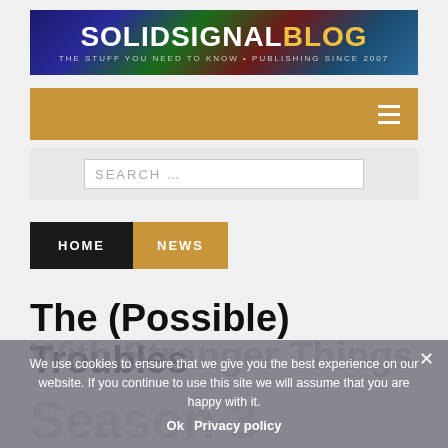SOLID SIGNAL BLOG — THE STUFF YOU NEED TO KNOW • PUBLISHING SINCE 2007
HOME  NEWS
SEARCH …
The (Possible) Troubles With Stranger Things Season 3
We use cookies to ensure that we give you the best experience on our website. If you continue to use this site we will assume that you are happy with it. Ok  Privacy policy